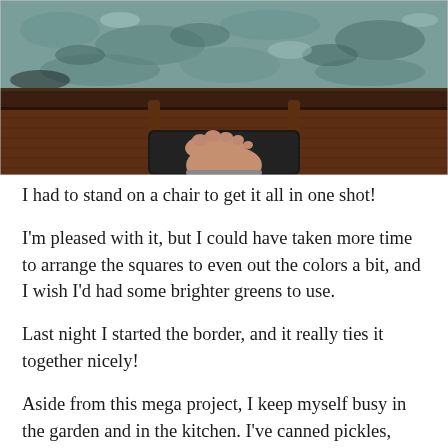[Figure (photo): Overhead/top-down photo showing a person's bare foot resting on a dark chair seat, with a patterned blue-green rug in the background and dark hardwood floor visible.]
I had to stand on a chair to get it all in one shot!
I'm pleased with it, but I could have taken more time to arrange the squares to even out the colors a bit, and I wish I'd had some brighter greens to use.
Last night I started the border, and it really ties it together nicely!
Aside from this mega project, I keep myself busy in the garden and in the kitchen. I've canned pickles, jam, and relish so far. In the garden, my cucumbers, squash,